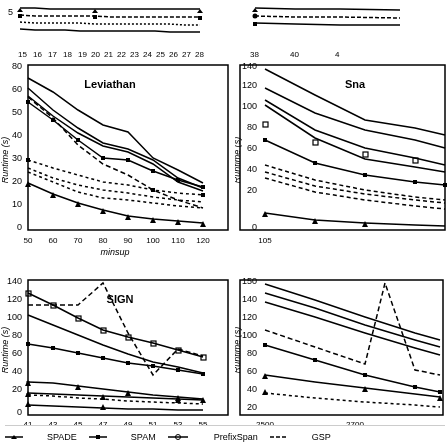[Figure (line-chart): Multi-series line chart showing runtime vs minsup for Leviathan dataset, values ranging 0-80s]
[Figure (line-chart): Partial multi-series line chart for another dataset, values 0-140s]
[Figure (line-chart): Multi-series line chart for SIGN dataset, values 0-140s]
[Figure (line-chart): Partial multi-series line chart, values 0-150s]
[Figure (line-chart): Top partial chart strip]
SPADE
SPAM
PrefixSpan
GSP